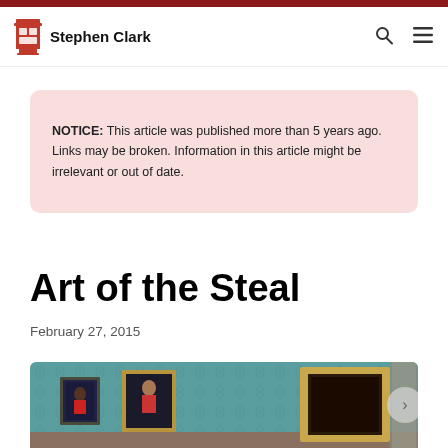Stephen Clark
NOTICE: This article was published more than 5 years ago. Links may be broken. Information in this article might be irrelevant or out of date.
Art of the Steal
February 27, 2015
[Figure (photo): Interior of an art gallery room with teal/green damask wallpaper. Several ornate gold-framed paintings hang on the walls. One large empty gold frame is visible on the right side. Stone columns are visible in the background.]